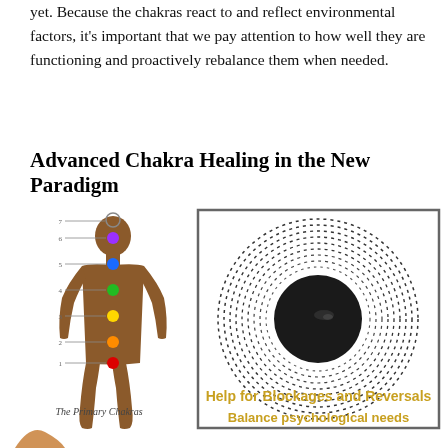yet. Because the chakras react to and reflect environmental factors, it's important that we pay attention to how well they are functioning and proactively rebalance them when needed.
Advanced Chakra Healing in the New Paradigm
[Figure (illustration): Silhouette of a human body showing the 7 primary chakras marked with colored circles at their respective positions along the body. Numbered 1-7 from bottom to top with lines pointing to each chakra. Caption reads 'The Primary Chakras'.]
[Figure (illustration): A circular spiral diagram with concentric dotted/dashed rings radiating outward from a dark center circle, enclosed in a square border.]
The Primary Chakras
Help for Blockages and Reversals
Balance psychological needs